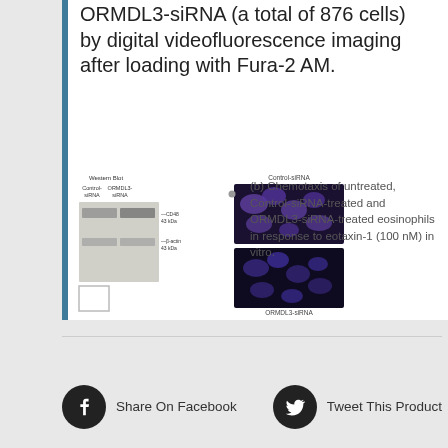ORMDL3-siRNA (a total of 876 cells) by digital videofluorescence imaging after loading with Fura-2 AM.
[Figure (photo): Western blot showing Control-siRNA and ORMDL3-siRNA lanes with CD48 (~43 kDa) and β-actin (~43 kDa) bands, alongside fluorescence microscopy images of eosinophils labeled Control-siRNA (top, purple/blue cells) and ORMDL3-siRNA (bottom, purple/blue cells)]
(b) Chemotaxis of untreated, Control-siRNA-treated and ORMDL3-siRNA-treated eosinophils in response to eotaxin-1 (100 nM) in vitro.
Share On Facebook
Tweet This Product